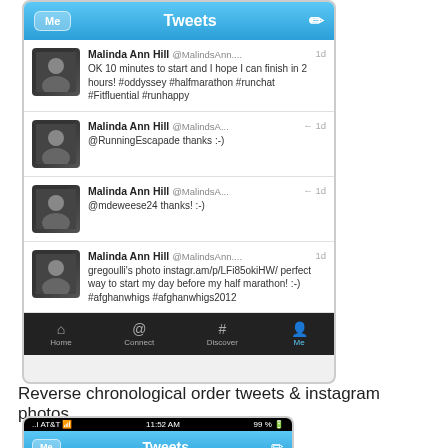[Figure (screenshot): Twitter app screenshot showing Malinda Ann Hill's tweets about a half marathon race, including hashtags #oddyssey #halfmarathon #runchat #Fitfluential #runhappy, a reply to @RunningEscapade, a reply to @mdeweese24, and a tweet about Greg Dulli's photo from instagram with #afghanwhigs #afghanwhigs2012. Bottom navigation bar shows Home, Connect, Discover, Me tabs.]
Reverse chronological order tweets & instagram photos...
[Figure (screenshot): Twitter app screenshot showing Malinda Ann Hill's tweet: On megabus, thought I was hallucinating b/c I hear Brother Woodrow/Closing Prayer then I realize it's coming from my iPhone #AfghanWhigs. Status bar shows AT&T, 11:52 AM, 99%.]